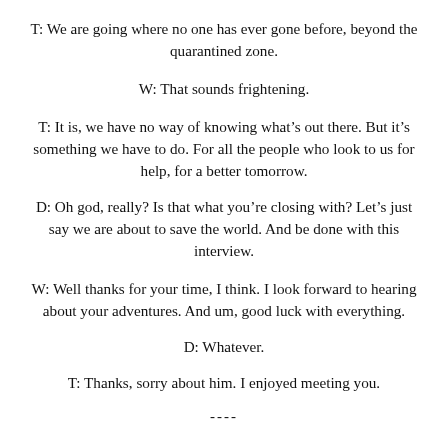T: We are going where no one has ever gone before, beyond the quarantined zone.
W: That sounds frightening.
T: It is, we have no way of knowing what’s out there. But it’s something we have to do. For all the people who look to us for help, for a better tomorrow.
D: Oh god, really? Is that what you’re closing with? Let’s just say we are about to save the world. And be done with this interview.
W: Well thanks for your time, I think. I look forward to hearing about your adventures. And um, good luck with everything.
D: Whatever.
T: Thanks, sorry about him. I enjoyed meeting you.
----